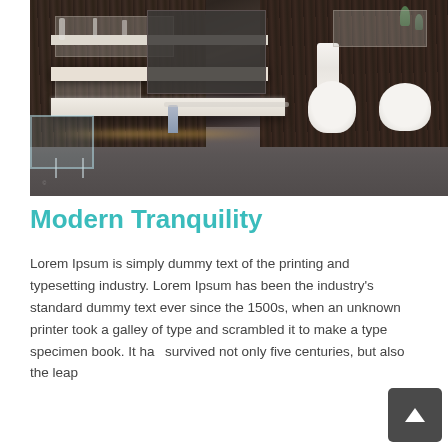[Figure (photo): Modern luxury bathroom with dark wood panel walls, floating white vanity shelf, wall-mounted toilet and bidet, recessed shelving with decorative items, warm under-counter lighting, and glass accent furniture. Dark grey floor. Towel hanging on right wall.]
Modern Tranquility
Lorem Ipsum is simply dummy text of the printing and typesetting industry. Lorem Ipsum has been the industry's standard dummy text ever since the 1500s, when an unknown printer took a galley of type and scrambled it to make a type specimen book. It has survived not only five centuries, but also the leap into...